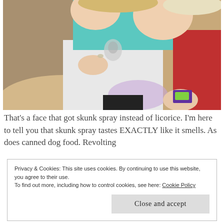[Figure (photo): Close-up photo of two children. One child in a teal/turquoise shirt holds a small purple candy/licorice box. Another child in a red top is partially visible. A child in a grey jacket is also partially visible on the left.]
That's a face that got skunk spray instead of licorice. I'm here to tell you that skunk spray tastes EXACTLY like it smells. As does canned dog food. Revolting
Privacy & Cookies: This site uses cookies. By continuing to use this website, you agree to their use.
To find out more, including how to control cookies, see here: Cookie Policy
Close and accept